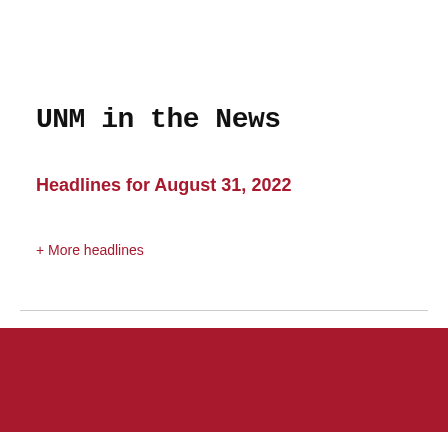UNM in the News
Headlines for August 31, 2022
+ More headlines